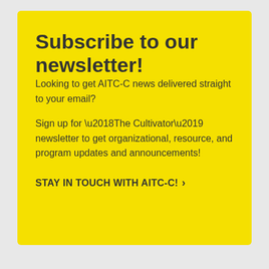Subscribe to our newsletter!
Looking to get AITC-C news delivered straight to your email?
Sign up for ‘The Cultivator’ newsletter to get organizational, resource, and program updates and announcements!
STAY IN TOUCH WITH AITC-C! ›